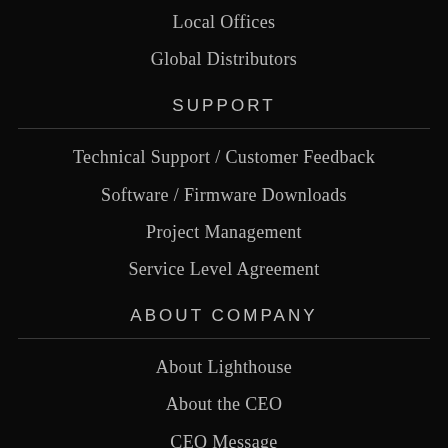Local Offices
Global Distributors
SUPPORT
Technical Support / Customer Feedback
Software / Firmware Downloads
Project Management
Service Level Agreement
ABOUT COMPANY
About Lighthouse
About the CEO
CEO Message
Giving Back / Paying It Forward
ISO Registrations / Certifications
Stevie Awards
American Business Awards